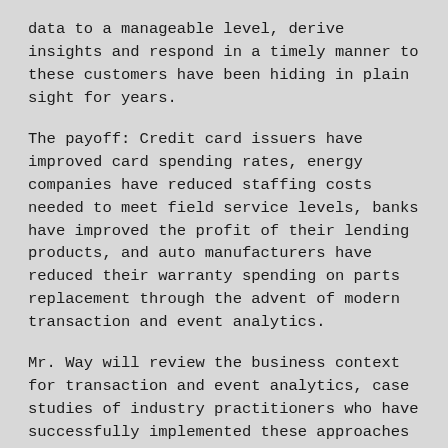data to a manageable level, derive insights and respond in a timely manner to these customers have been hiding in plain sight for years.
The payoff: Credit card issuers have improved card spending rates, energy companies have reduced staffing costs needed to meet field service levels, banks have improved the profit of their lending products, and auto manufacturers have reduced their warranty spending on parts replacement through the advent of modern transaction and event analytics.
Mr. Way will review the business context for transaction and event analytics, case studies of industry practitioners who have successfully implemented these approaches to improve customer service levels and sales performance, and some of the practical techniques to tackle the data